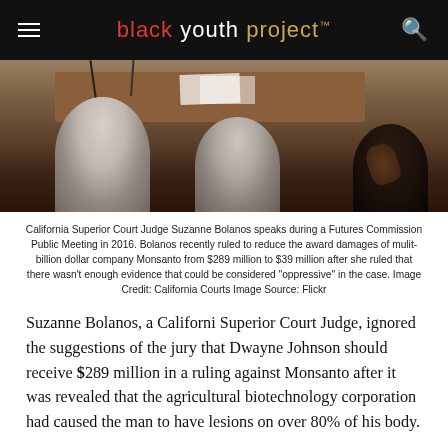black youth project™
[Figure (photo): People seated in a courtroom viewed from behind, with a wooden desk and microphones visible in the background]
California Superior Court Judge Suzanne Bolanos speaks during a Futures Commission Public Meeting in 2016. Bolanos recently ruled to reduce the award damages of mulit-billion dollar company Monsanto from $289 million to $39 million after she ruled that there wasn't enough evidence that could be considered "oppressive" in the case. Image Credit: California Courts Image Source: Flickr
Suzanne Bolanos, a Californi Superior Court Judge, ignored the suggestions of the jury that Dwayne Johnson should receive $289 million in a ruling against Monsanto after it was revealed that the agricultural biotechnology corporation had caused the man to have lesions on over 80% of his body.